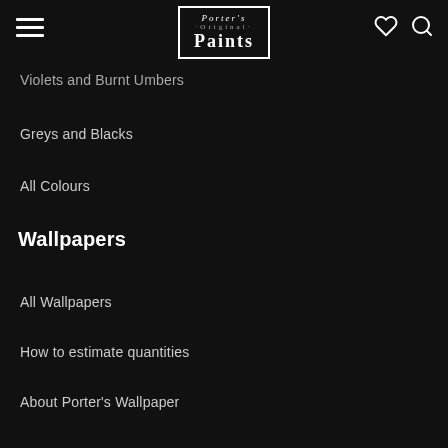Porter's Original Paints
Violets and Burnt Umbers
Greys and Blacks
All Colours
Wallpapers
All Wallpapers
How to estimate quantities
About Porter's Wallpaper